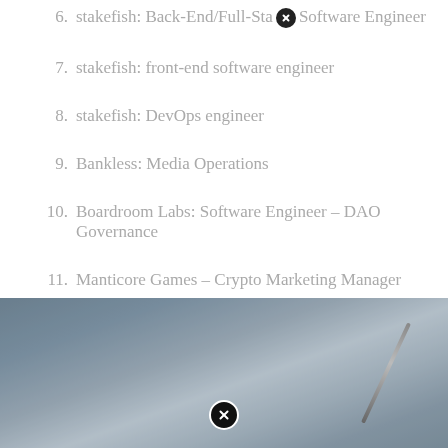6. stakefish: Back-End/Full-Stack Software Engineer
7. stakefish: front-end software engineer
8. stakefish: DevOps engineer
9. Bankless: Media Operations
10. Boardroom Labs: Software Engineer – DAO Governance
11. Manticore Games – Crypto Marketing Manager
12. Bankless: Threadoooor (Author)
[Figure (photo): A blurred photo of hands writing with a pencil on paper, with a dark/teal background.]